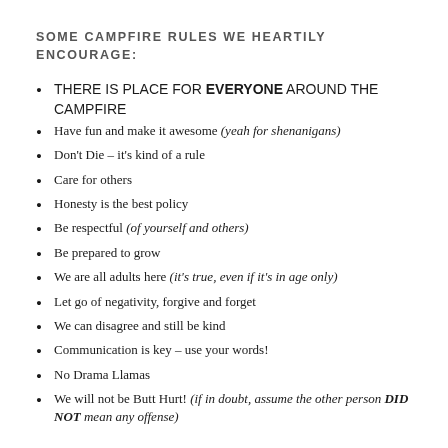SOME CAMPFIRE RULES WE HEARTILY ENCOURAGE:
THERE IS PLACE FOR EVERYONE AROUND THE CAMPFIRE
Have fun and make it awesome (yeah for shenanigans)
Don't Die – it's kind of a rule
Care for others
Honesty is the best policy
Be respectful (of yourself and others)
Be prepared to grow
We are all adults here (it's true, even if it's in age only)
Let go of negativity, forgive and forget
We can disagree and still be kind
Communication is key – use your words!
No Drama Llamas
We will not be Butt Hurt! (if in doubt, assume the other person DID NOT mean any offense)